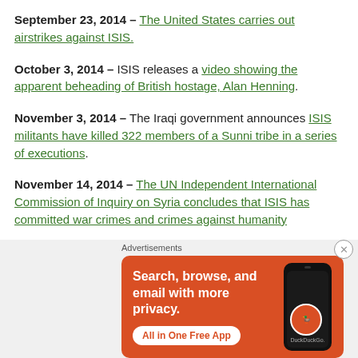September 23, 2014 – The United States carries out airstrikes against ISIS.
October 3, 2014 – ISIS releases a video showing the apparent beheading of British hostage, Alan Henning.
November 3, 2014 – The Iraqi government announces ISIS militants have killed 322 members of a Sunni tribe in a series of executions.
November 14, 2014 – The UN Independent International Commission of Inquiry on Syria concludes that ISIS has committed war crimes and crimes against humanity
[Figure (screenshot): DuckDuckGo advertisement banner with orange background. Text: Search, browse, and email with more privacy. All in One Free App. Shows a phone mockup with DuckDuckGo logo.]